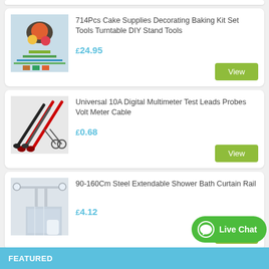[Figure (screenshot): Partial top of a product card (cut off at top)]
[Figure (photo): 714Pcs Cake Supplies Decorating Baking Kit Set Tools Turntable DIY Stand Tools product image]
714Pcs Cake Supplies Decorating Baking Kit Set Tools Turntable DIY Stand Tools
£24.95
View
[Figure (photo): Universal 10A Digital Multimeter Test Leads Probes Volt Meter Cable product image]
Universal 10A Digital Multimeter Test Leads Probes Volt Meter Cable
£0.68
View
[Figure (photo): 90-160Cm Steel Extendable Shower Bath Curtain Rail product image]
90-160Cm Steel Extendable Shower Bath Curtain Rail
£4.12
View
Live Chat
FEATURED